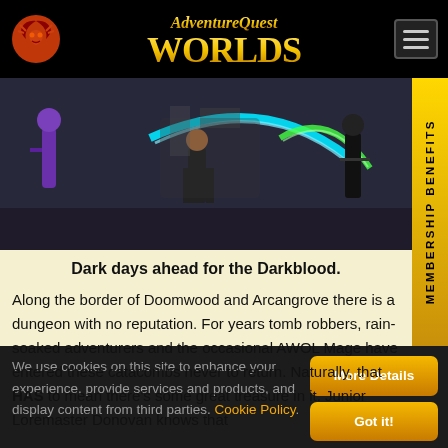AdventureQuest Worlds
[Figure (screenshot): Game screenshot showing animated characters battling with glowing cyan and green arc weapons against a dark background]
Dark days ahead for the Darkblood.
Along the border of Doomwood and Arcangrove there is a dungeon with no reputation. For years tomb robbers, rain-soaked adventurers and the occasional AWOL Mage have entered these catacombs never to return. Naturally, that HAS to mean there's some great treasure in it. Junior Loremaster Donovan knows that
We use cookies on this site to enhance your experience, provide services and products, and display content from third parties. Cookie Policy.